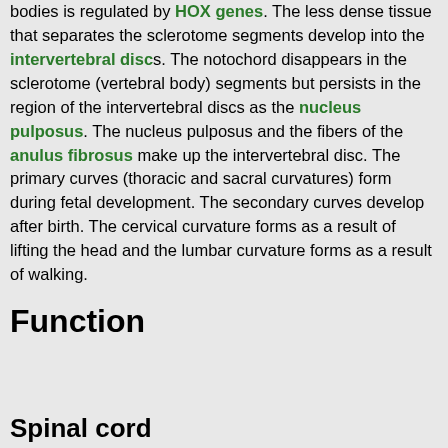bodies is regulated by HOX genes. The less dense tissue that separates the sclerotome segments develop into the intervertebral discs. The notochord disappears in the sclerotome (vertebral body) segments but persists in the region of the intervertebral discs as the nucleus pulposus. The nucleus pulposus and the fibers of the anulus fibrosus make up the intervertebral disc. The primary curves (thoracic and sacral curvatures) form during fetal development. The secondary curves develop after birth. The cervical curvature forms as a result of lifting the head and the lumbar curvature forms as a result of walking.
Function
Spinal cord